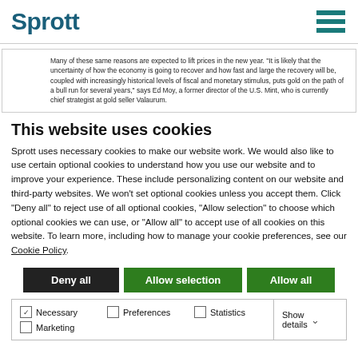Sprott
Many of these same reasons are expected to lift prices in the new year. "It is likely that the uncertainty of how the economy is going to recover and how fast and large the recovery will be, coupled with increasingly historical levels of fiscal and monetary stimulus, puts gold on the path of a bull run for several years," says Ed Moy, a former director of the U.S. Mint, who is currently chief strategist at gold seller Valaurum.
This website uses cookies
Sprott uses necessary cookies to make our website work. We would also like to use certain optional cookies to understand how you use our website and to improve your experience. These include personalizing content on our website and third-party websites. We won't set optional cookies unless you accept them. Click "Deny all" to reject use of all optional cookies, "Allow selection" to choose which optional cookies we can use, or "Allow all" to accept use of all cookies on this website. To learn more, including how to manage your cookie preferences, see our Cookie Policy.
Deny all
Allow selection
Allow all
Necessary | Preferences | Statistics | Marketing | Show details